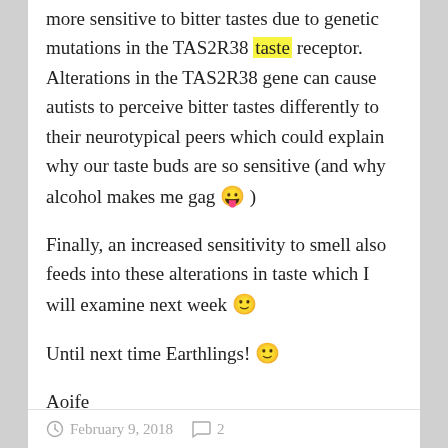more sensitive to bitter tastes due to genetic mutations in the TAS2R38 taste receptor. Alterations in the TAS2R38 gene can cause autists to perceive bitter tastes differently to their neurotypical peers which could explain why our taste buds are so sensitive (and why alcohol makes me gag 😛 )
Finally, an increased sensitivity to smell also feeds into these alterations in taste which I will examine next week 🙂
Until next time Earthlings! 🙂
Aoife
February 9, 2018   2